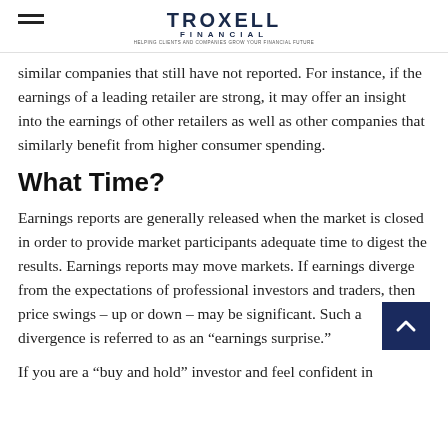TROXELL FINANCIAL
similar companies that still have not reported. For instance, if the earnings of a leading retailer are strong, it may offer an insight into the earnings of other retailers as well as other companies that similarly benefit from higher consumer spending.
What Time?
Earnings reports are generally released when the market is closed in order to provide market participants adequate time to digest the results. Earnings reports may move markets. If earnings diverge from the expectations of professional investors and traders, then price swings – up or down – may be significant. Such a divergence is referred to as an “earnings surprise.”
If you are a “buy and hold” investor and feel confident in